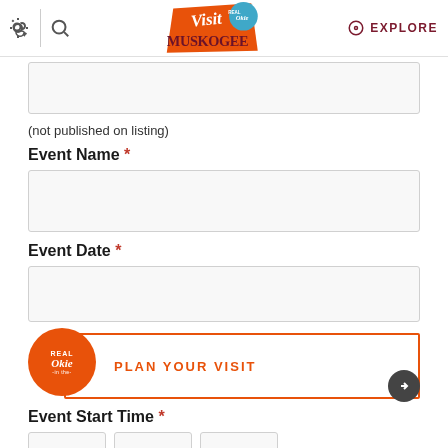Visit Muskogee | Real Okie | EXPLORE
(not published on listing)
Event Name *
Event Date *
[Figure (logo): Real Okie / Plan Your Visit popup overlay with orange circle logo and orange bordered box]
Event Start Time *